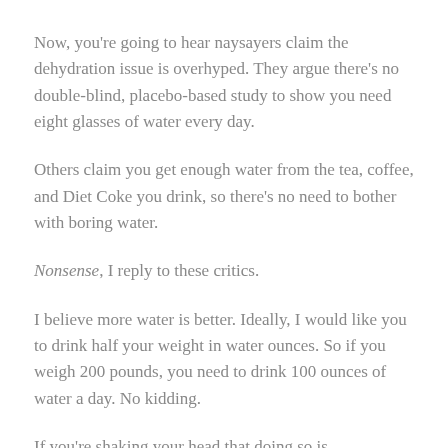Now, you're going to hear naysayers claim the dehydration issue is overhyped. They argue there's no double-blind, placebo-based study to show you need eight glasses of water every day.
Others claim you get enough water from the tea, coffee, and Diet Coke you drink, so there's no need to bother with boring water.
Nonsense, I reply to these critics.
I believe more water is better. Ideally, I would like you to drink half your weight in water ounces. So if you weigh 200 pounds, you need to drink 100 ounces of water a day. No kidding.
If you're shaking your head that doing so is